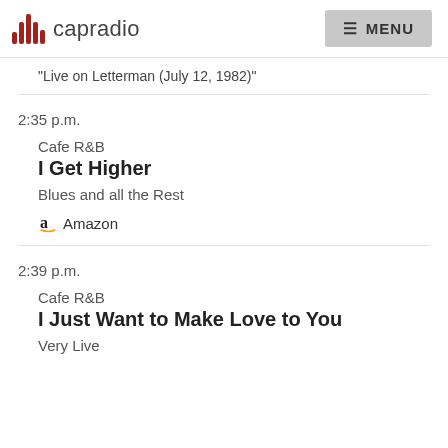capradio  MENU
"Live on Letterman (July 12, 1982)"
2:35 p.m.
Cafe R&B
I Get Higher
Blues and all the Rest
Amazon
2:39 p.m.
Cafe R&B
I Just Want to Make Love to You
Very Live